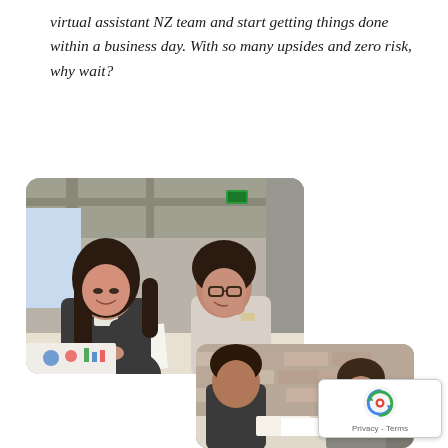virtual assistant NZ team and start getting things done within a business day. With so many upsides and zero risk, why wait?
[Figure (photo): Two professional women in an office setting reviewing documents together, smiling. One woman with long dark hair in a blazer holds papers; the other with glasses rests her chin on her hand.]
[Figure (photo): Partial view of people in a meeting around a table in a modern office with exposed brick walls.]